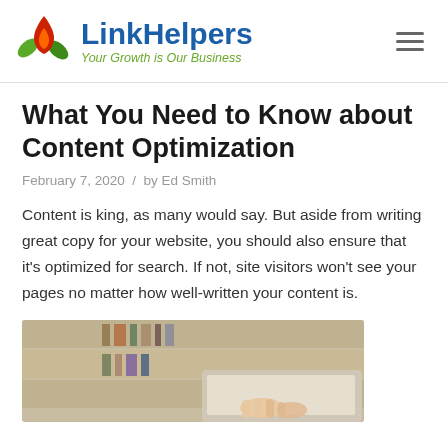LinkHelpers — Your Growth is Our Business
What You Need to Know about Content Optimization
February 7, 2020  /  by Ed Smith
Content is king, as many would say. But aside from writing great copy for your website, you should also ensure that it's optimized for search. If not, site visitors won't see your pages no matter how well-written your content is.
[Figure (photo): Person typing on a laptop keyboard, with blurred bookshelves in the background]